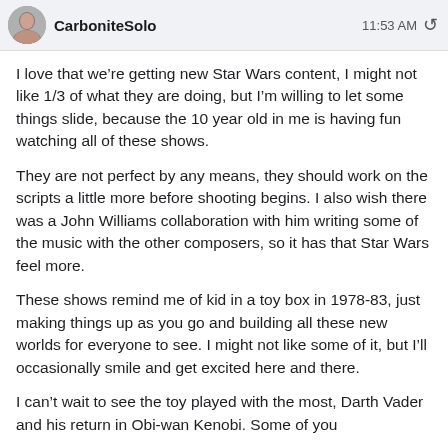CarboniteSolo  11:53 AM
I love that we’re getting new Star Wars content, I might not like 1/3 of what they are doing, but I’m willing to let some things slide, because the 10 year old in me is having fun watching all of these shows.
They are not perfect by any means, they should work on the scripts a little more before shooting begins. I also wish there was a John Williams collaboration with him writing some of the music with the other composers, so it has that Star Wars feel more.
These shows remind me of kid in a toy box in 1978-83, just making things up as you go and building all these new worlds for everyone to see. I might not like some of it, but I’ll occasionally smile and get excited here and there.
I can’t wait to see the toy played with the most, Darth Vader and his return in Obi-wan Kenobi. Some of you